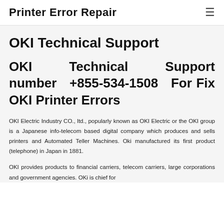Printer Error Repair
OKI Technical Support
OKI Technical Support number +855-534-1508 For Fix OKI Printer Errors
OKI Electric Industry CO., ltd., popularly known as OKI Electric or the OKI group is a Japanese info-telecom based digital company which produces and sells printers and Automated Teller Machines. Oki manufactured its first product (telephone) in Japan in 1881.
OKI provides products to financial carriers, telecom carriers, large corporations and government agencies. OKi is chief for